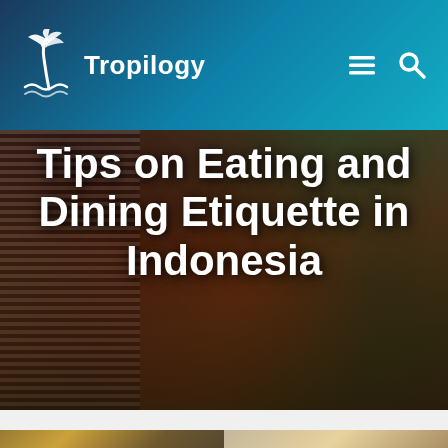Tropilogy
[Figure (photo): Food spread on a table with people serving Indonesian dishes; colorful bowls of rice, vegetables, skewers, and salads visible]
Tips on Eating and Dining Etiquette in Indonesia